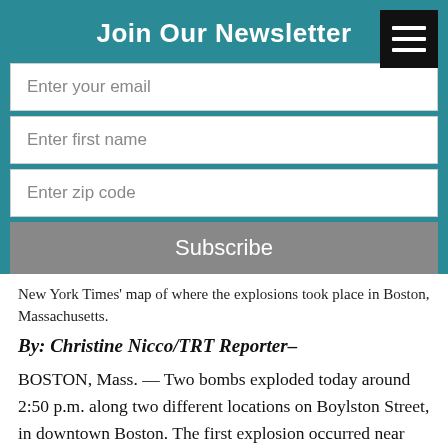Join Our Newsletter
Enter your email
Enter first name
Enter zip code
Subscribe
New York Times' map of where the explosions took place in Boston, Massachusetts.
By: Christine Nicco/TRT Reporter–
BOSTON, Mass. — Two bombs exploded today around 2:50 p.m. along two different locations on Boylston Street, in downtown Boston. The first explosion occurred near the finish line of the yearly Boston Marathon, according to reports on scene. The second explosion took place just